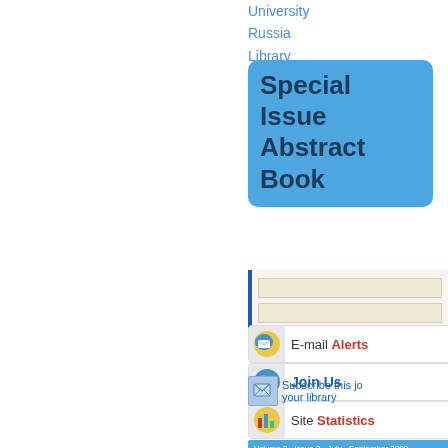University
Russia
Library
[Figure (other): Blue rounded rectangle box with text 'Special Issue Abstract Book' in dark blue on blue background]
[Figure (other): Search box area with bordered input fields]
[Figure (other): E-mail Alerts button with globe/envelope icon]
[Figure (other): Join Us button with globe icon]
[Figure (other): Site Statistics button with envelope/chart icon]
Subscribe this journal to your library
[Figure (other): Volume/Issue bar: Volume 2 • Issue 3 • July - September 2008]